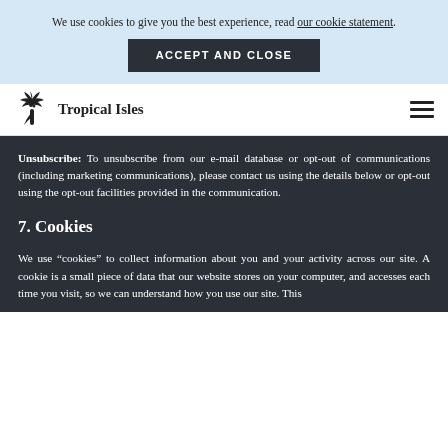We use cookies to give you the best experience, read our cookie statement.
ACCEPT AND CLOSE
Tropical Isles
Unsubscribe: To unsubscribe from our e-mail database or opt-out of communications (including marketing communications), please contact us using the details below or opt-out using the opt-out facilities provided in the communication.
7. Cookies
We use “cookies” to collect information about you and your activity across our site. A cookie is a small piece of data that our website stores on your computer, and accesses each time you visit, so we can understand how you use our site. This